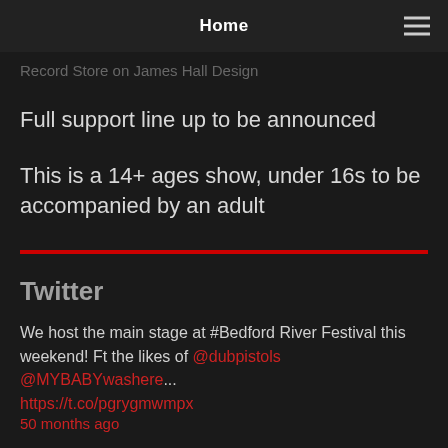Home
Record Store on James Hall Design
Full support line up to be announced
This is a 14+ ages show, under 16s to be accompanied by an adult
Twitter
We host the main stage at #Bedford River Festival this weekend! Ft the likes of @dubpistols @MYBABYwashere... https://t.co/pgrygmwmpx 50 months ago